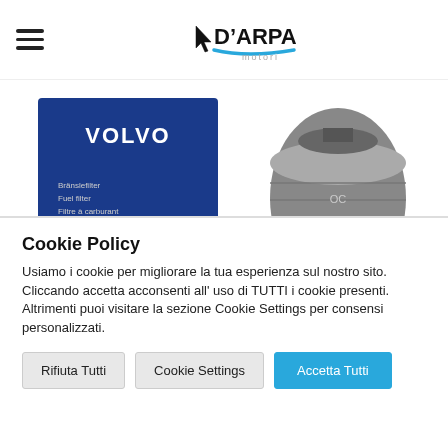D'ARPA motori - hamburger menu and logo
[Figure (photo): Volvo branded fuel filter product box (blue) with a cylindrical metal fuel filter component, partially visible, on a white background]
Cookie Policy
Usiamo i cookie per migliorare la tua esperienza sul nostro sito. Cliccando accetta acconsenti all' uso di TUTTI i cookie presenti. Altrimenti puoi visitare la sezione Cookie Settings per consensi personalizzati.
Rifiuta Tutti | Cookie Settings | Accetta Tutti